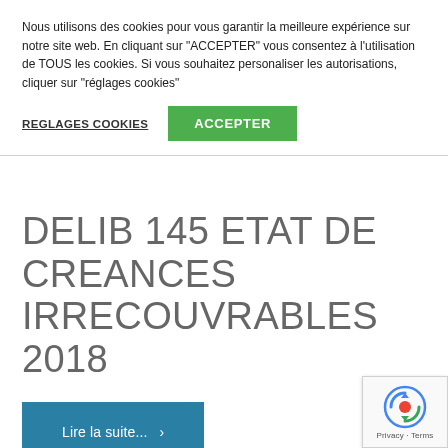Nous utilisons des cookies pour vous garantir la meilleure expérience sur notre site web. En cliquant sur "ACCEPTER" vous consentez à l'utilisation de TOUS les cookies. Si vous souhaitez personaliser les autorisations, cliquer sur "réglages cookies"
REGLAGES COOKIES
ACCEPTER
DELIB 145 ETAT DE CREANCES IRRECOUVRABLES 2018
Lire la suite... ›